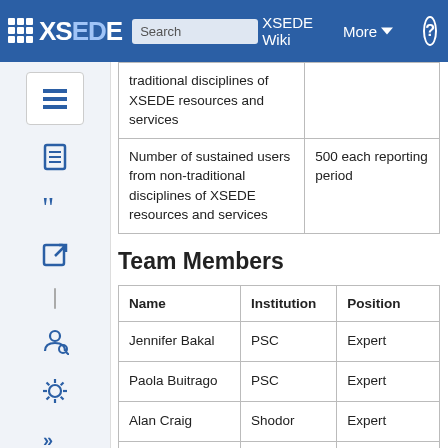XSEDE Wiki | Search | More | Log in
| traditional disciplines of XSEDE resources and services |  |
| Number of sustained users from non-traditional disciplines of XSEDE resources and services | 500 each reporting period |
Team Members
| Name | Institution | Position |
| --- | --- | --- |
| Jennifer Bakal | PSC | Expert |
| Paola Buitrago | PSC | Expert |
| Alan Craig | Shodor | Expert |
| Kevin Chen | TACC | Expert |